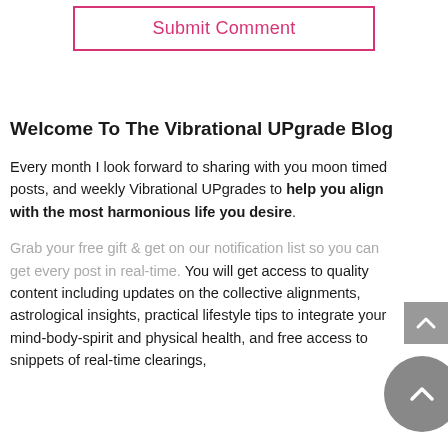Submit Comment
Welcome To The Vibrational UPgrade Blog
Every month I look forward to sharing with you moon timed posts, and weekly Vibrational UPgrades to help you align with the most harmonious life you desire.
Grab your free gift & get on our notification list so you can get every post in real-time. You will get access to quality content including updates on the collective alignments, astrological insights, practical lifestyle tips to integrate your mind-body-spirit and physical health, and free access to snippets of real-time clearings,